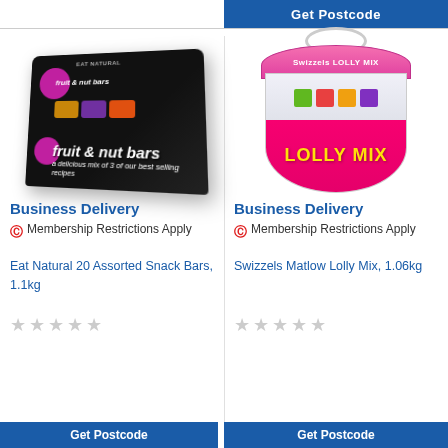Get Postcode
[Figure (photo): Eat Natural fruit & nut bars box, black packaging with purple badges, showing multiple product bars]
Business Delivery
Membership Restrictions Apply
Eat Natural 20 Assorted Snack Bars, 1.1kg
★★★★★ (empty stars)
[Figure (photo): Swizzels Matlow Lolly Mix tub, pink lid with handle, colorful lollipops visible inside]
Business Delivery
Membership Restrictions Apply
Swizzels Matlow Lolly Mix, 1.06kg
★★★★★ (empty stars)
Get Postcode